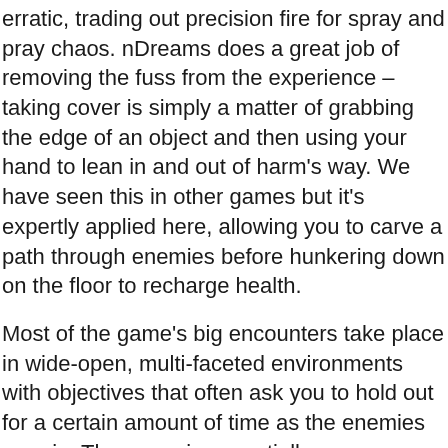erratic, trading out precision fire for spray and pray chaos. nDreams does a great job of removing the fuss from the experience – taking cover is simply a matter of grabbing the edge of an object and then using your hand to lean in and out of harm's way. We have seen this in other games but it's expertly applied here, allowing you to carve a path through enemies before hunkering down on the floor to recharge health.
Most of the game's big encounters take place in wide-open, multi-faceted environments with objectives that often ask you to hold out for a certain amount of time as the enemies pour in. The game is essentially an arena shooter and, while it doesn't do a great job of disguising that, it does have some of the right ingredients to pile on the pressure with enemy types that screech as they sprint towards you in hopes of blowing themselves up or tougher, armored foes that first need to be knocked